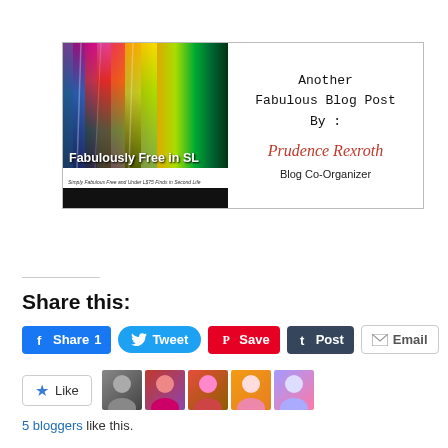[Figure (illustration): Blog banner card with rainbow color streaks image on the left labeled 'Fabulously Free in SL', and on the right text reading 'Another Fabulous Blog Post By: Prudence Rexroth Blog Co-Organizer']
Share this:
[Figure (infographic): Social sharing buttons: Share 1 (Facebook), Tweet (Twitter), Save (Pinterest), Post (Tumblr), Email]
5 bloggers like this.